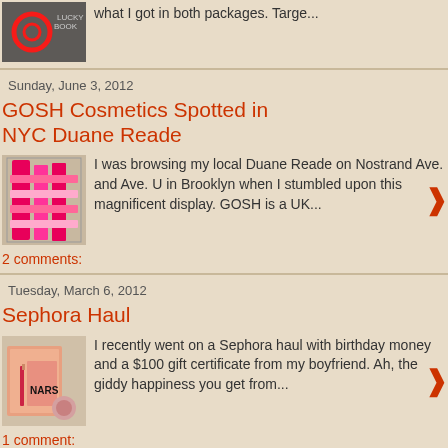[Figure (photo): Partial thumbnail of Target store/product image]
what I got in both packages. Targe...
Sunday, June 3, 2012
GOSH Cosmetics Spotted in NYC Duane Reade
[Figure (photo): Photo of GOSH cosmetics display in Duane Reade store]
I was browsing my local Duane Reade on Nostrand Ave. and Ave. U in Brooklyn when I stumbled upon this magnificent display. GOSH is a UK...
2 comments:
Tuesday, March 6, 2012
Sephora Haul
[Figure (photo): Photo of Sephora haul items including NARS products]
I recently went on a Sephora haul with birthday money and a $100 gift certificate from my boyfriend. Ah, the giddy happiness you get from...
1 comment: